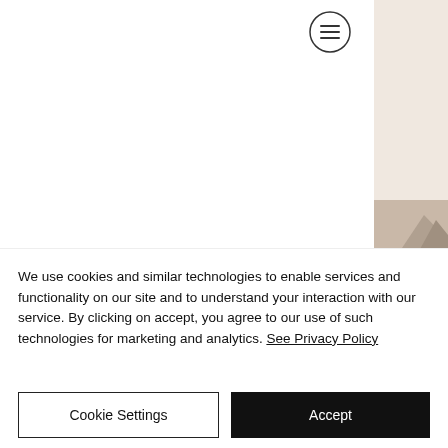[Figure (other): Hamburger/menu icon button — three horizontal lines inside a circle, top-right area of the page]
[Figure (photo): Partial photograph visible on the right side of the page, appears to show a mountain or landscape scene in muted sepia/beige tones]
We use cookies and similar technologies to enable services and functionality on our site and to understand your interaction with our service. By clicking on accept, you agree to our use of such technologies for marketing and analytics. See Privacy Policy
Cookie Settings
Accept